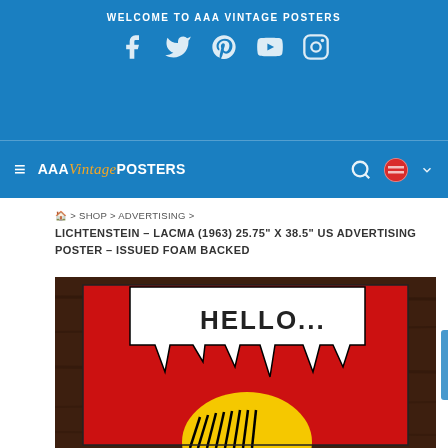WELCOME TO AAA VINTAGE POSTERS
[Figure (logo): AAA Vintage Posters website header with social media icons (Facebook, Twitter, Pinterest, YouTube, Instagram) on blue background, navigation bar with hamburger menu and logo]
⌂ > SHOP > ADVERTISING >
LICHTENSTEIN – LACMA (1963) 25.75" X 38.5" US ADVERTISING POSTER – ISSUED FOAM BACKED
[Figure (photo): Roy Lichtenstein LACMA 1963 vintage advertising poster showing 'HELLO...' speech bubble in pop art style with red background, white dripping speech bubble, and yellow figure with black hair hatching at bottom]